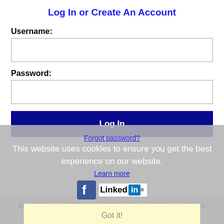Log In or Create An Account
Username:
Password:
Log In
Forgot password?
This website uses cookies to ensure you get the best experience on our website.
Learn more
[Figure (logo): Facebook and LinkedIn social media icons/logos]
Got it!
Get the latest California jobs by following @recnetCA on Twitter!